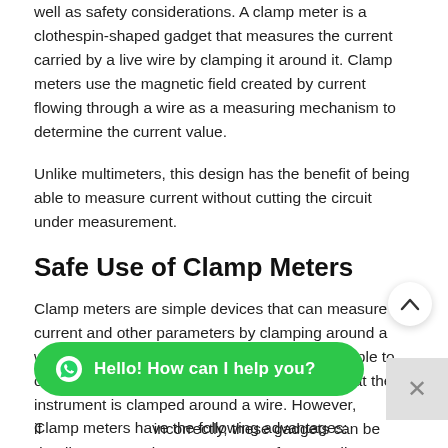well as safety considerations. A clamp meter is a clothespin-shaped gadget that measures the current carried by a live wire by clamping it around it. Clamp meters use the magnetic field created by current flowing through a wire as a measuring mechanism to determine the current value.
Unlike multimeters, this design has the benefit of being able to measure current without cutting the circuit under measurement.
Safe Use of Clamp Meters
Clamp meters are simple devices that can measure current and other parameters by clamping around a wire that does not need to be cut. They are simple to operate safely because all that is required is that the instrument is clamped around a wire. However, if incorrectly, these gadgets can be deadly. As a result, to guarantee safe use, adhere to this article's recommendations and precautions f
Clamp meters have the following advantages: